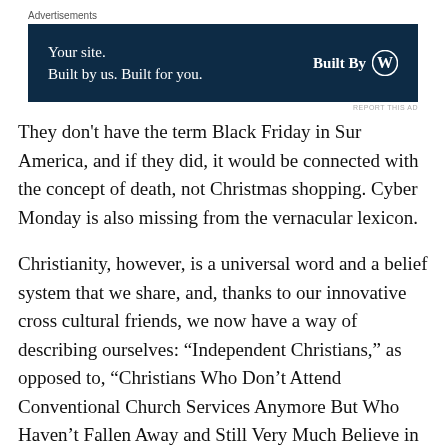Advertisements
[Figure (other): WordPress 'Built By' advertisement banner with dark navy background. Left side text: 'Your site. Built by us. Built for you.' Right side: 'Built By' with WordPress logo.]
They don't have the term Black Friday in Sur America, and if they did, it would be connected with the concept of death, not Christmas shopping. Cyber Monday is also missing from the vernacular lexicon.
Christianity, however, is a universal word and a belief system that we share, and, thanks to our innovative cross cultural friends, we now have a way of describing ourselves: “Independent Christians,” as opposed to, “Christians Who Don’t Attend Conventional Church Services Anymore But Who Haven’t Fallen Away and Still Very Much Believe in God.”